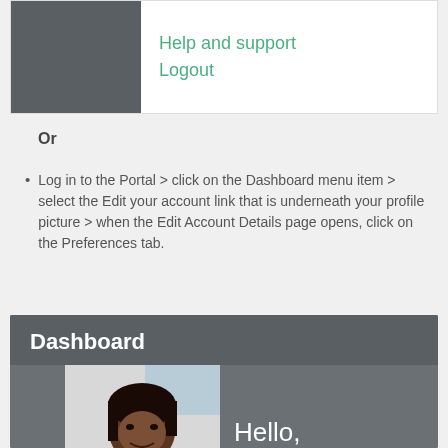[Figure (screenshot): Portal menu screenshot showing 'Help and support' and 'Logout' links in green, with a grey profile image box on the left]
Or
Log in to the Portal > click on the Dashboard menu item > select the Edit your account link that is underneath your profile picture > when the Edit Account Details page opens, click on the Preferences tab.
[Figure (screenshot): Dashboard screenshot showing 'Dashboard' heading in white on dark grey background, with a profile photo of a woman and 'Hello, You last logged' text]